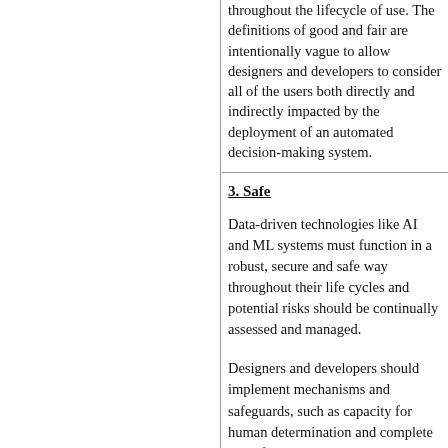throughout the lifecycle of use. The definitions of good and fair are intentionally vague to allow designers and developers to consider all of the users both directly and indirectly impacted by the deployment of an automated decision-making system.
3. Safe
Data-driven technologies like AI and ML systems must function in a robust, secure and safe way throughout their life cycles and potential risks should be continually assessed and managed.
Designers and developers should implement mechanisms and safeguards, such as capacity for human determination and complete halt of the system operations, that are appropriate to the context and predetermined at initial deployment.